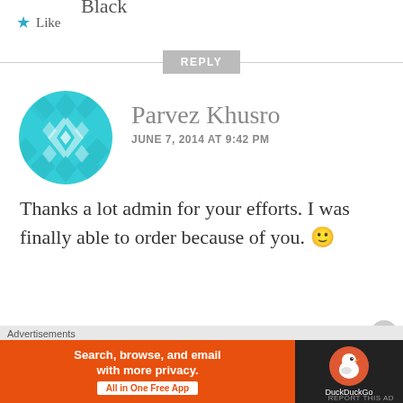Black
★ Like
REPLY
Parvez Khusro
JUNE 7, 2014 AT 9:42 PM
[Figure (illustration): Teal geometric diamond pattern avatar for user Parvez Khusro]
Thanks a lot admin for your efforts. I was finally able to order because of you. 🙂
★ Like
Advertisements
[Figure (screenshot): DuckDuckGo advertisement banner: Search, browse, and email with more privacy. All in One Free App.]